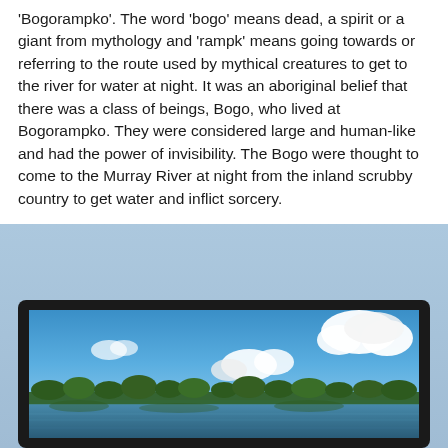'Bogorampko'.  The word 'bogo' means dead, a spirit or a giant from mythology and 'rampk' means going towards or referring to the route used by mythical creatures to get to the river for water at night.  It was an aboriginal belief that there was a class of beings, Bogo, who lived at Bogorampko.  They were considered large and human-like and had the power of invisibility.  The Bogo were thought to come to the Murray River at night from the inland scrubby country to get water and inflict sorcery.
[Figure (photo): A landscape photograph framed in a dark/black tablet-like border showing a river scene with trees reflected in water and a blue sky with white cumulus clouds.]